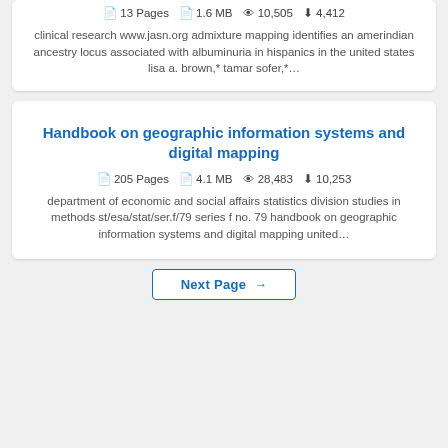clinical research www.jasn.org admixture mapping identifies an amerindian ancestry locus associated with albuminuria in hispanics in the united states lisa a. brown,* tamar sofer,*…
Handbook on geographic information systems and digital mapping
205 Pages  4.1 MB  28,483  10,253
department of economic and social affairs statistics division studies in methods st/esa/stat/ser.f/79 series f no. 79 handbook on geographic information systems and digital mapping united…
Next Page →